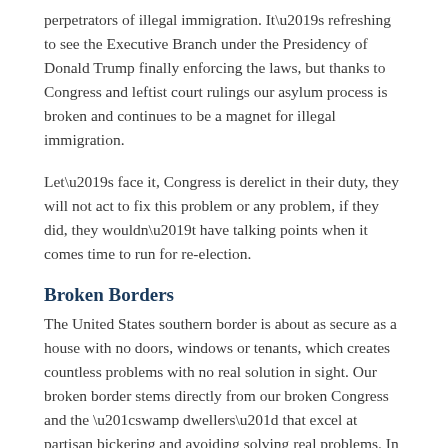perpetrators of illegal immigration. It's refreshing to see the Executive Branch under the Presidency of Donald Trump finally enforcing the laws, but thanks to Congress and leftist court rulings our asylum process is broken and continues to be a magnet for illegal immigration.
Let's face it, Congress is derelict in their duty, they will not act to fix this problem or any problem, if they did, they wouldn't have talking points when it comes time to run for re-election.
Broken Borders
The United States southern border is about as secure as a house with no doors, windows or tenants, which creates countless problems with no real solution in sight. Our broken border stems directly from our broken Congress and the “swamp dwellers” that excel at partisan bickering and avoiding solving real problems. In fact, Congress often exacerbates problems, just look at the national debt which has been created by out of control spending. This spending includes our broken healthcare system and